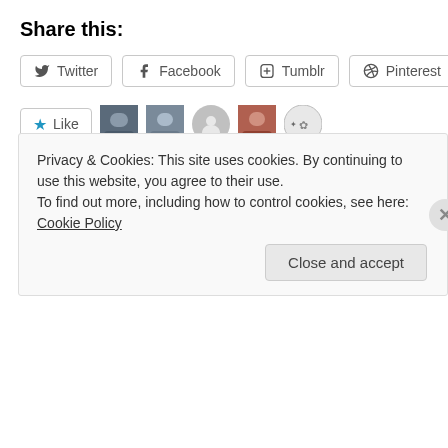Share this:
Twitter  Facebook  Tumblr  Pinterest
[Figure (other): Like button with star icon and 5 blogger profile avatars]
5 bloggers like this.
Related
PARTING IS SUCH SWEET SORROW…
May 14, 2015
In "General"
Privacy & Cookies: This site uses cookies. By continuing to use this website, you agree to their use.
To find out more, including how to control cookies, see here: Cookie Policy